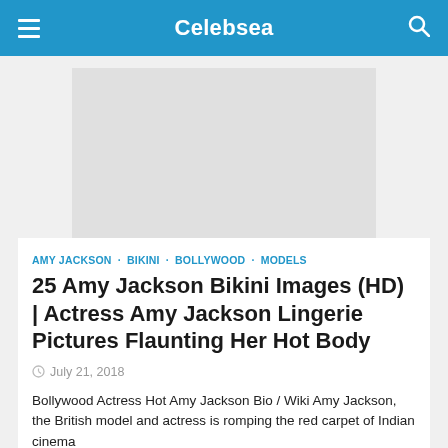Celebsea
[Figure (other): Advertisement placeholder banner, light gray background]
AMY JACKSON · BIKINI · BOLLYWOOD · MODELS
25 Amy Jackson Bikini Images (HD) | Actress Amy Jackson Lingerie Pictures Flaunting Her Hot Body
July 21, 2018
Bollywood Actress Hot Amy Jackson Bio / Wiki Amy Jackson, the British model and actress is romping the red carpet of Indian cinema